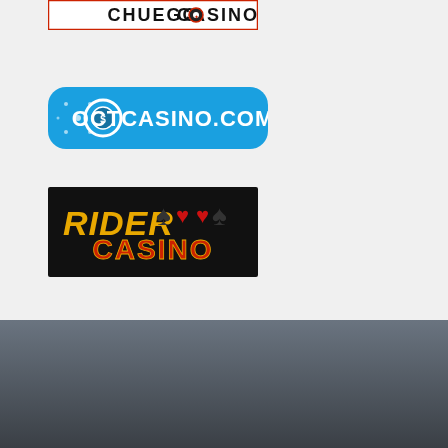[Figure (logo): Chuego Casino logo - partial view at top, red border with black and white text on white background]
[Figure (logo): OctCasino.com logo - blue rounded rectangle with white poker chip icon and white text OCTCASINO.COM]
[Figure (logo): Rider Casino logo - black background with golden RIDER text and red/gold CASINO text with playing card suits]
Proudly powered by batxepkeo.com | batxepkeo.com batxepkeo.com.